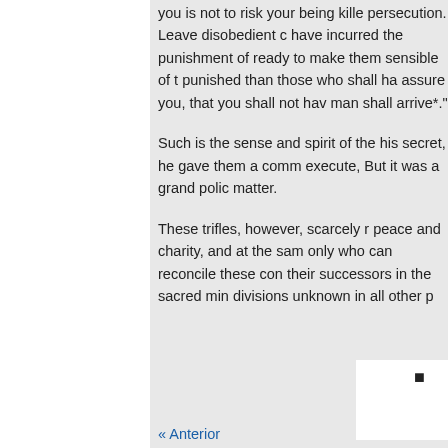you is not to risk your being killed persecution. Leave disobedient c have incurred the punishment of ready to make them sensible of th punished than those who shall ha assure you, that you shall not hav man shall arrive*."
Such is the sense and spirit of the his secret, he gave them a comm execute, But it was a grand polic matter.
These trifles, however, scarcely r peace and charity, and at the sam only who can reconcile these con their successors in the sacred mir divisions unknown in all other p
« Anterior